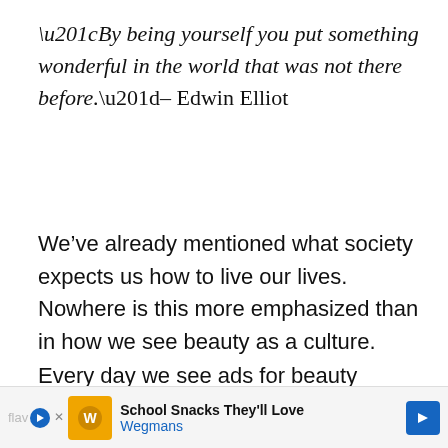“By being yourself you put something wonderful in the world that was not there before.”– Edwin Elliot
We’ve already mentioned what society expects us how to live our lives. Nowhere is this more emphasized than in how we see beauty as a culture.
Every day we see ads for beauty products – be younger, more tanned, achieve
[Figure (other): Advertisement banner for Wegmans School Snacks with orange logo, play button, and blue arrow navigation button]